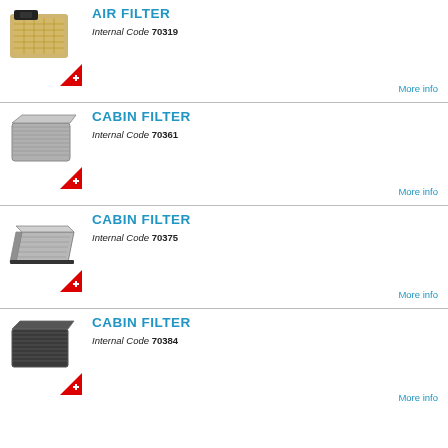[Figure (photo): Air filter product photo with Swiss quality badge]
AIR FILTER
Internal Code 70319
More info
[Figure (photo): Cabin filter product photo with Swiss quality badge]
CABIN FILTER
Internal Code 70361
More info
[Figure (photo): Cabin filter (angled) product photo with Swiss quality badge]
CABIN FILTER
Internal Code 70375
More info
[Figure (photo): Cabin filter (charcoal/black) product photo with Swiss quality badge]
CABIN FILTER
Internal Code 70384
More info